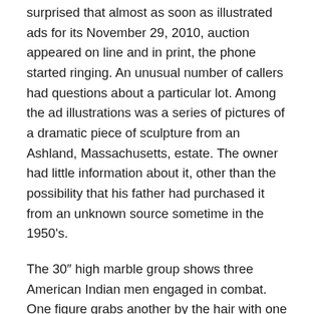surprised that almost as soon as illustrated ads for its November 29, 2010, auction appeared on line and in print, the phone started ringing. An unusual number of callers had questions about a particular lot. Among the ad illustrations was a series of pictures of a dramatic piece of sculpture from an Ashland, Massachusetts, estate. The owner had little information about it, other than the possibility that his father had purchased it from an unknown source sometime in the 1950's.
The 30″ high marble group shows three American Indian men engaged in combat. One figure grabs another by the hair with one hand and wields a knife with his other. A third man has fallen and struggles to pull himself up or to pull one of the other warriors to the ground. A long arrow and a battle-ax lie on the ground. The dynamic and complex composition leads a viewer to circle slowly to sort out the